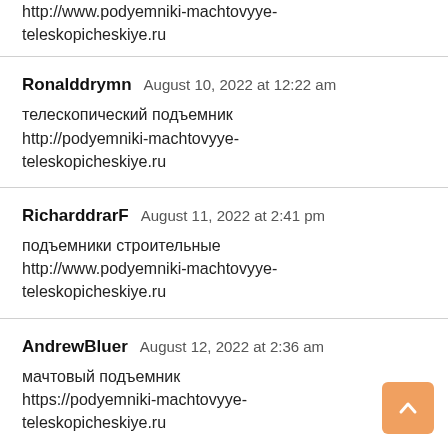http://www.podyemniki-machtovyye-teleskopicheskiye.ru
Ronalddrymn  August 10, 2022 at 12:22 am
телескопический подъемник
http://podyemniki-machtovyye-teleskopicheskiye.ru
RicharddrarF  August 11, 2022 at 2:41 pm
подъемники строительные
http://www.podyemniki-machtovyye-teleskopicheskiye.ru
AndrewBluer  August 12, 2022 at 2:36 am
мачтовый подъемник
https://podyemniki-machtovyye-teleskopicheskiye.ru